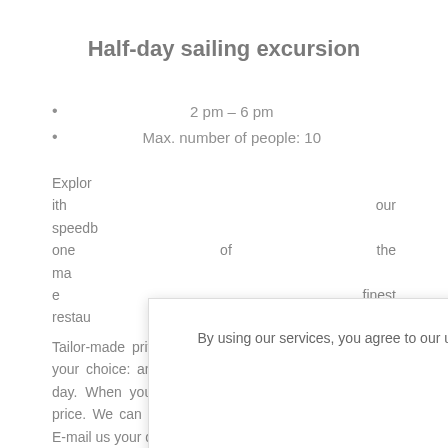Half-day sailing excursion
2 pm – 6 pm
Max. number of people: 10
By using our services, you agree to our use of cookies. We use only basic cookies for website functionality, without tracking users.
OK
Read more in /privacy-policy
Explore   ith our speedb   one of the ma   e finest restau
Tailor-made private daily excursions can be made at your choice: any place that can be reached within a day. When you choose the place, we negotiate the price. We can also suggest some lovely destinations. E-mail us your queries.
Departures and returns at the port of Hvar, unless otherwise